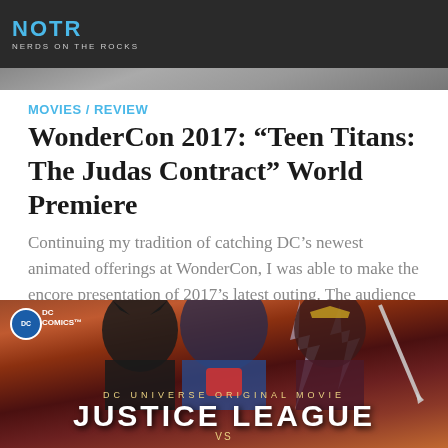NOTR NERDS ON THE ROCKS
[Figure (photo): Cropped photo strip at top of page, appears to show people at a convention or similar event]
MOVIES / REVIEW
WonderCon 2017: “Teen Titans: The Judas Contract” World Premiere
Continuing my tradition of catching DC’s newest animated offerings at WonderCon, I was able to make the encore presentation of 2017’s latest outing. The audience was no less enthused for the flick, even on…
[Figure (photo): DC Universe Original Movie promotional image for Justice League featuring animated Batman, Superman, and Wonder Woman characters with lightning in background. Text reads: DC COMICS, DC UNIVERSE ORIGINAL MOVIE, JUSTICE LEAGUE, VS]